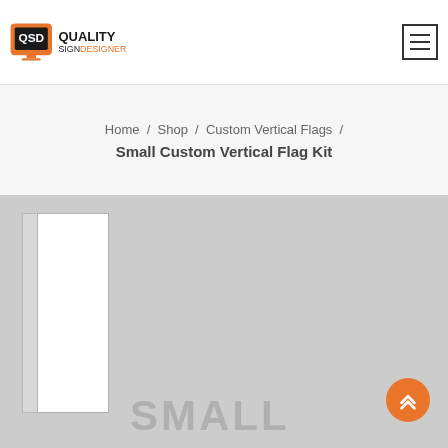Quality Sign Designer logo and navigation
Home / Shop / Custom Vertical Flags / Small Custom Vertical Flag Kit
[Figure (photo): Product image of a Small Custom Vertical Flag Kit showing a white vertical flag with pole on a light gray background, with 'SMALL' text in gray at the bottom]